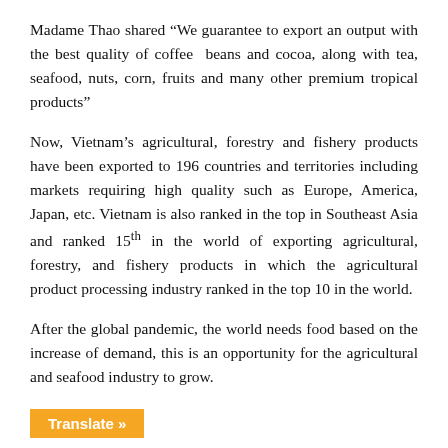Madame Thao shared “We guarantee to export an output with the best quality of coffee beans and cocoa, along with tea, seafood, nuts, corn, fruits and many other premium tropical products”
Now, Vietnam’s agricultural, forestry and fishery products have been exported to 196 countries and territories including markets requiring high quality such as Europe, America, Japan, etc. Vietnam is also ranked in the top in Southeast Asia and ranked 15th in the world of exporting agricultural, forestry, and fishery products in which the agricultural product processing industry ranked in the top 10 in the world.
After the global pandemic, the world needs food based on the increase of demand, this is an opportunity for the agricultural and seafood industry to grow.
Translate »